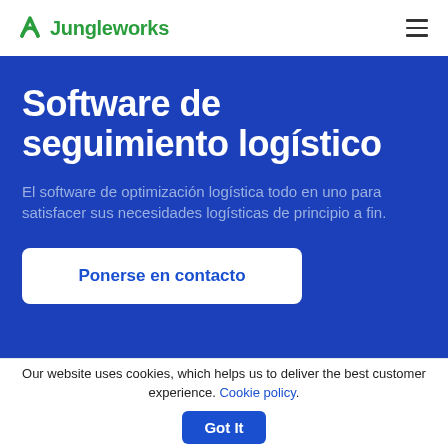Jungleworks
Software de seguimiento logístico
El software de optimización logística todo en uno para satisfacer sus necesidades logísticas de principio a fin.
Ponerse en contacto
Our website uses cookies, which helps us to deliver the best customer experience. Cookie policy. Got It